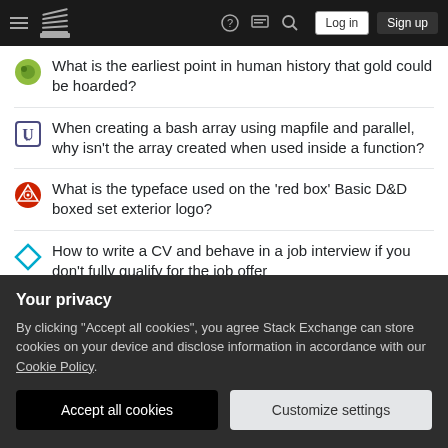Stack Exchange navigation bar with hamburger menu, logo, help, chat, search icons, Log in and Sign up buttons
What is the earliest point in human history that gold could be hoarded?
When creating a bash array using mapfile and parallel, why isn't the array created when used inside a function?
What is the typeface used on the 'red box' Basic D&D boxed set exterior logo?
How to write a CV and behave in a job interview if you don't fully qualify for the job offer
Why are beans I soak myself always smaller than canned?
Can one individual (not a dealer) give or sell a firearm to another individual without reporting the transaction?
Best Meditation for Stress
Your privacy
By clicking "Accept all cookies", you agree Stack Exchange can store cookies on your device and disclose information in accordance with our Cookie Policy.
Accept all cookies
Customize settings